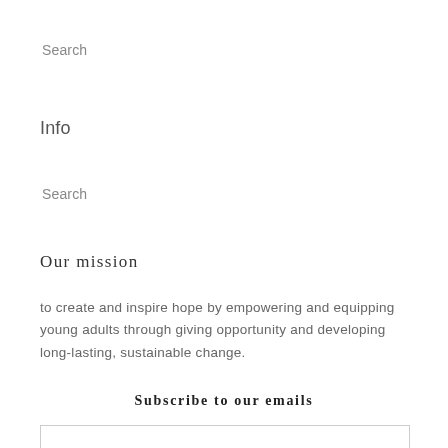Search
Info
Search
Our mission
to create and inspire hope by empowering and equipping young adults through giving opportunity and developing long-lasting, sustainable change.
Subscribe to our emails